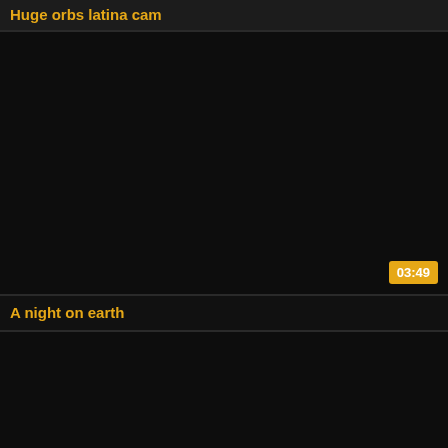Huge orbs latina cam
[Figure (screenshot): Black video thumbnail with duration badge showing 03:49]
A night on earth
[Figure (screenshot): Black video thumbnail, partially visible at bottom of page]